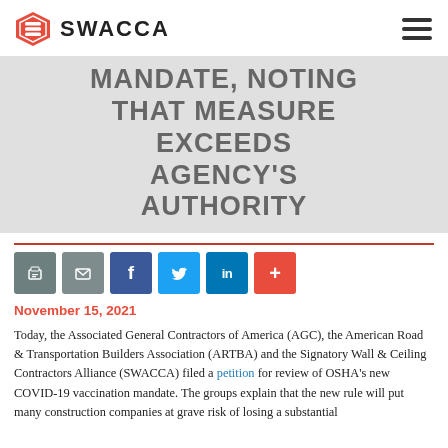SWACCA
MANDATE, NOTING THAT MEASURE EXCEEDS AGENCY'S AUTHORITY
November 15, 2021
Today, the Associated General Contractors of America (AGC), the American Road & Transportation Builders Association (ARTBA) and the Signatory Wall & Ceiling Contractors Alliance (SWACCA) filed a petition for review of OSHA's new COVID-19 vaccination mandate. The groups explain that the new rule will put many construction companies at grave risk of losing a substantial